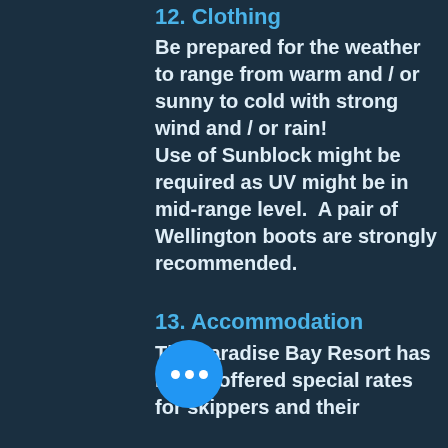12. Clothing
Be prepared for the weather to range from warm and / or sunny to cold with strong wind and / or rain! Use of Sunblock might be required as UV might be in mid-range level.  A pair of Wellington boots are strongly recommended.
13. Accommodation
The Paradise Bay Resort has kindly offered special rates for skippers and their